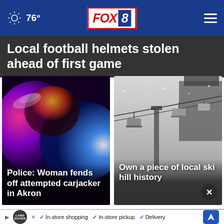76° FOX 8
Local football helmets stolen ahead of first game
[Figure (photo): Blurred police car lights in red, blue and purple tones]
Police: Woman fends off attempted carjacker in Akron
[Figure (photo): Snow-covered ski lift chairs on a foggy, wintry day]
Own a piece of local ski hill history
[Figure (photo): Partial view of a bottom image strip showing a blue building]
In-store shopping  In-store pickup  Delivery